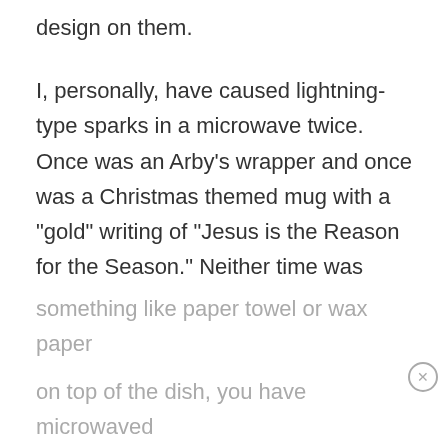design on them.
I, personally, have caused lightning-type sparks in a microwave twice. Once was an Arby’s wrapper and once was a Christmas themed mug with a “gold” writing of “Jesus is the Reason for the Season.” Neither time was enjoyable.
5. If you have used a covering of
something like paper towel or wax paper